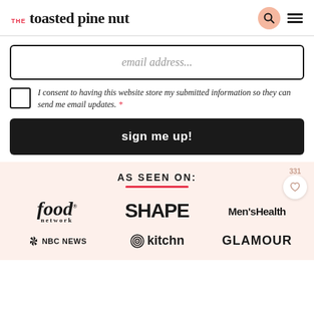THE toasted pine nut
email address...
I consent to having this website store my submitted information so they can send me email updates. *
sign me up!
AS SEEN ON:
[Figure (logo): Food Network logo in italic serif font]
[Figure (logo): SHAPE magazine logo in bold sans-serif]
[Figure (logo): Men's Health magazine logo]
[Figure (logo): NBC News logo with peacock symbol]
[Figure (logo): kitchn logo with circular target icon]
[Figure (logo): GLAMOUR magazine logo]